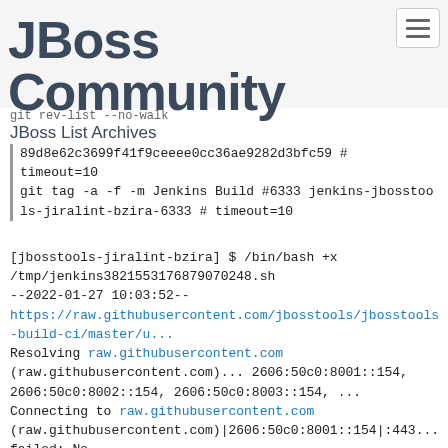JBoss Community
JBoss List Archives
git rev-list --no-walk
89d8e62c3699f41f9ceeee0cc36ae9282d3bfc59 # timeout=10
git tag -a -f -m Jenkins Build #6333 jenkins-jbosstools-jiralint-bzira-6333 # timeout=10
[jbosstools-jiralint-bzira] $ /bin/bash +x /tmp/jenkins3821553176879070248.sh
--2022-01-27 10:03:52--
https://raw.githubusercontent.com/jbosstools/jbosstools-build-ci/master/u...
Resolving raw.githubusercontent.com
(raw.githubusercontent.com)... 2606:50c0:8001::154, 2606:50c0:8002::154, 2606:50c0:8003::154, ...
Connecting to raw.githubusercontent.com
(raw.githubusercontent.com)|2606:50c0:8001::154|:443... failed: No route to host.
Connecting to raw.githubusercontent.com